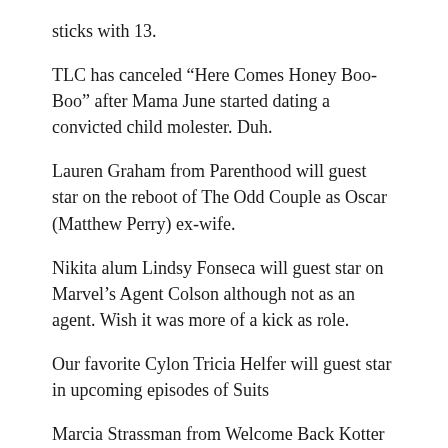sticks with 13.
TLC has canceled “Here Comes Honey Boo-Boo” after Mama June started dating a convicted child molester. Duh.
Lauren Graham from Parenthood will guest star on the reboot of The Odd Couple as Oscar (Matthew Perry) ex-wife.
Nikita alum Lindsy Fonseca will guest star on Marvel’s Agent Colson although not as an agent. Wish it was more of a kick as role.
Our favorite Cylon Tricia Helfer will guest star in upcoming episodes of Suits
Marcia Strassman from Welcome Back Kotter has died of breast cancer at age 66